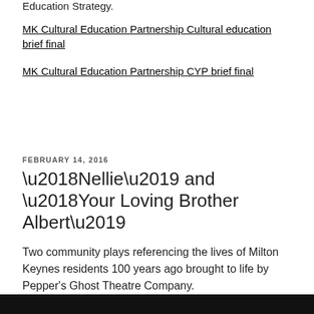Education Strategy.
MK Cultural Education Partnership Cultural education brief final
MK Cultural Education Partnership CYP brief final
FEBRUARY 14, 2016
‘Nellie’ and ‘Your Loving Brother Albert’
Two community plays referencing the lives of Milton Keynes residents 100 years ago brought to life by Pepper’s Ghost Theatre Company.